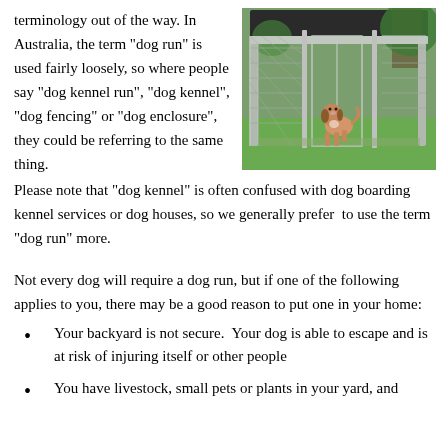terminology out of the way. In Australia, the term "dog run" is used fairly loosely, so where people say "dog kennel run", "dog kennel", "dog fencing" or "dog enclosure", they could be referring to the same thing.
[Figure (photo): A dog (beagle) sitting inside a large outdoor chain-link dog run/kennel with a dark roof covering, set on a grassy lawn with trees in the background.]
Please note that "dog kennel" is often confused with dog boarding kennel services or dog houses, so we generally prefer  to use the term "dog run" more.
Not every dog will require a dog run, but if one of the following applies to you, there may be a good reason to put one in your home:
Your backyard is not secure.  Your dog is able to escape and is at risk of injuring itself or other people
You have livestock, small pets or plants in your yard, and